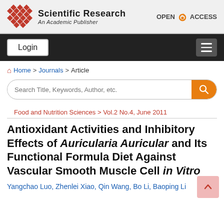[Figure (logo): Scientific Research publisher logo with red diamond grid pattern and 'Scientific Research An Academic Publisher' text, plus Open Access lock icon]
Login (navigation button) and hamburger menu
Home > Journals > Article (breadcrumb)
Search Title, Keywords, Author, etc. (search bar)
Food and Nutrition Sciences > Vol.2 No.4, June 2011
Antioxidant Activities and Inhibitory Effects of Auricularia Auricular and Its Functional Formula Diet Against Vascular Smooth Muscle Cell in Vitro
Yangchao Luo, Zhenlei Xiao, Qin Wang, Bo Li, Baoping Li